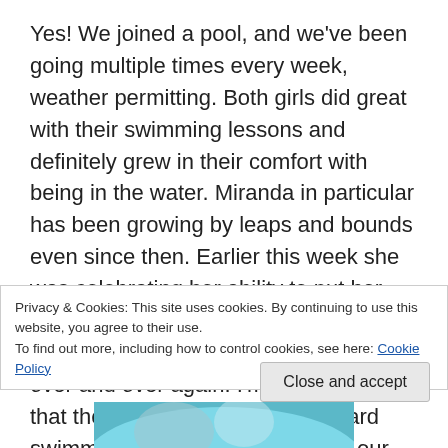Yes! We joined a pool, and we've been going multiple times every week, weather permitting. Both girls did great with their swimming lessons and definitely grew in their comfort with being in the water. Miranda in particular has been growing by leaps and bounds even since then. Earlier this week she was celebrating her ability to put her head under the water unasked and without plugging her nose by doing it over and over again. I'm really happy that they're making progress toward swimming, and we're all enjoying our pool time!
Privacy & Cookies: This site uses cookies. By continuing to use this website, you agree to their use.
To find out more, including how to control cookies, see here: Cookie Policy
Close and accept
[Figure (photo): Partial view of a photo showing a person near water with teal/blue background, cropped at bottom of page]